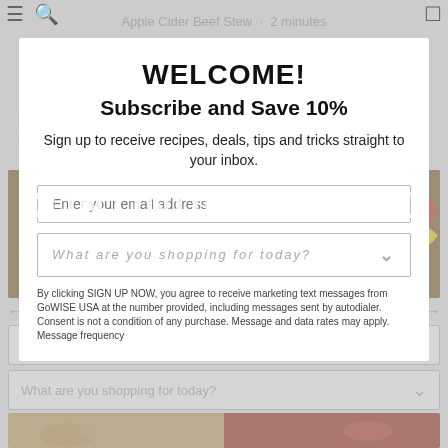Apple Cider Beef Stew · 2 minutes
8  Garnish with rosemary, parsley and season to taste with salt and pepper.
[Figure (photo): Top-down photo of vegetables on wooden table: tomatoes, green apple, broccoli, bananas]
← Older Post    Next Newer Post →
WELCOME!
Subscribe and Save 10%
Sign up to receive recipes, deals, tips and tricks straight to your inbox.
Enter your email address
What are you shopping for today?
CONTINUE READING
[Figure (photo): Food images: potatoes on left, striped dish on right]
By clicking SIGN UP NOW, you agree to receive marketing text messages from GoWISE USA at the number provided, including messages sent by autodialer. Consent is not a condition of any purchase. Message and data rates may apply. Message frequency